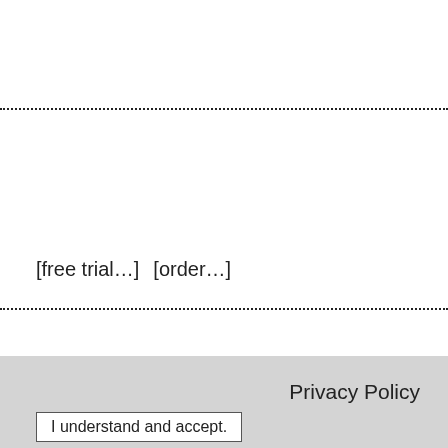[free trial…]   [order…]
Privacy Policy
I understand and accept.